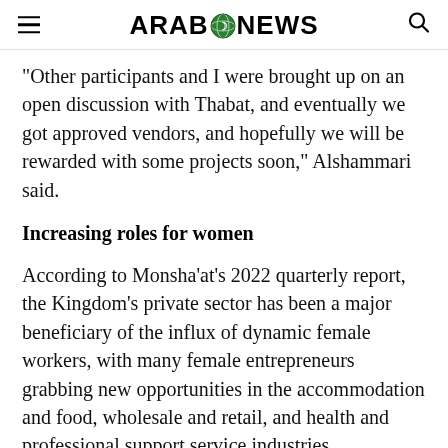ARAB NEWS
“Other participants and I were brought up on an open discussion with Thabat, and eventually we got approved vendors, and hopefully we will be rewarded with some projects soon,” Alshammari said.
Increasing roles for women
According to Monsha’at’s 2022 quarterly report, the Kingdom’s private sector has been a major beneficiary of the influx of dynamic female workers, with many female entrepreneurs grabbing new opportunities in the accommodation and food, wholesale and retail, and health and professional support service industries.